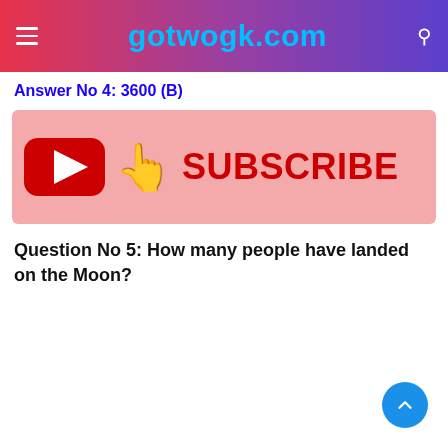gotwogk.com
Answer No 4: 3600 (B)
[Figure (illustration): YouTube subscribe banner with red YouTube play button logo, pointing hand emoji, and bold red SUBSCRIBE text on a pink/salmon background]
Question No 5: How many people have landed on the Moon?